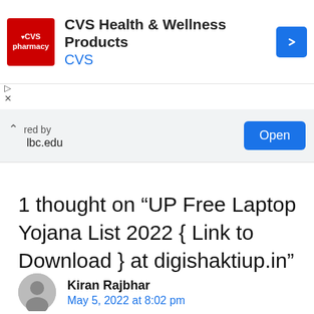[Figure (other): CVS pharmacy advertisement banner with red CVS logo, text 'CVS Health & Wellness Products' and 'CVS', and a blue navigation diamond icon]
[Figure (other): Second ad bar with caret/chevron up icon, text 'red by' and 'lbc.edu', and a blue 'Open' button]
1 thought on “UP Free Laptop Yojana List 2022 { Link to Download } at digishaktiup.in”
Kiran Rajbhar
May 5, 2022 at 8:02 pm